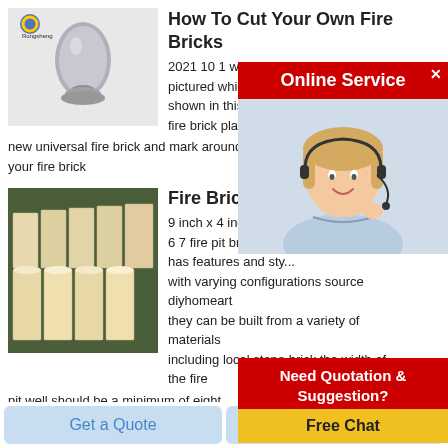[Figure (photo): Rongsheng logo and grey powder/cone shaped object on light grey background]
How To Cut Your Own Fire Bricks
2021 10 1 we sell u... pictured which can ... shown in this guide ... fire brick place your new universal fire brick and mark around the outline of your fire brick
[Figure (screenshot): Online Service popup with red header, woman with headset image]
[Figure (photo): Stacked pale yellow fire bricks in warehouse]
Fire Brick Lar...
9 inch x 4 inch x 2 1... 6 7 fire pit brick the... has features and sty... with varying configurations source diyhomeart they can be built from a variety of materials including local stone brick the width of the fire pit well should be a minimum of eight
[Figure (screenshot): Need Quotation & Suggestion? Free Chat popup with red header and yellow button]
Get a Quote
Chat Now